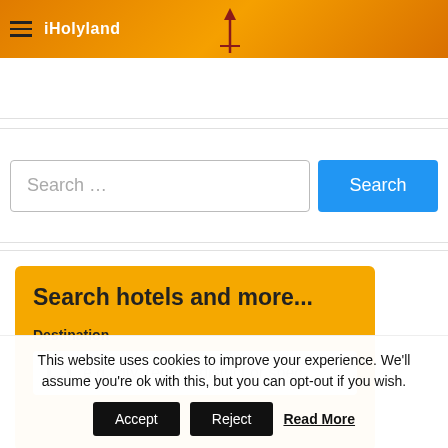iHolyland
[Figure (screenshot): Website search bar section with 'Search ...' input field and blue 'Search' button]
[Figure (screenshot): Hotel booking widget with orange/yellow background showing 'Search hotels and more...' title, 'Destination' label and input field with placeholder 'e.g. city, region, district or spec']
This website uses cookies to improve your experience. We'll assume you're ok with this, but you can opt-out if you wish.
Accept  Reject  Read More